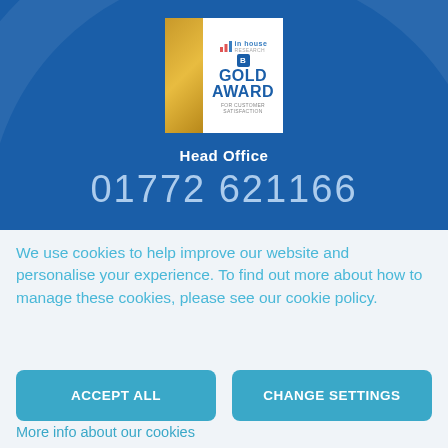[Figure (logo): In House Gold Award for Customer Satisfaction badge with gold triangle on left and blue GOLD AWARD text on right]
Head Office
01772 621166
We use cookies to help improve our website and personalise your experience. To find out more about how to manage these cookies, please see our cookie policy.
ACCEPT ALL
CHANGE SETTINGS
More info about our cookies